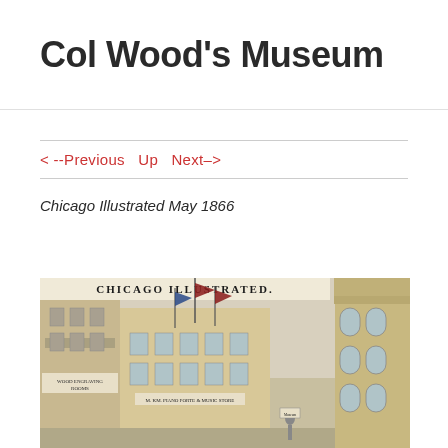Col Wood's Museum
< --Previous  Up  Next–>
Chicago Illustrated May 1866
[Figure (illustration): Historical engraving from Chicago Illustrated May 1866 showing Col Wood's Museum building on a city street with flags flying and a tall ornate building to the right. Signs on the building read 'WOOD ENGRAVING ROOMS' and other business names. Text at top reads 'CHICAGO ILLUSTRATED.']